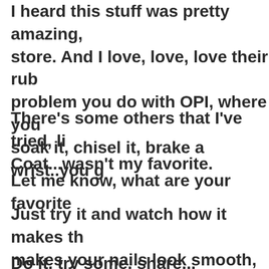I heard this stuff was pretty amazing, store. And I love, love, love their rub problem you do with OPI, where you soak it, chisel it, brake a wrist..you g
There's some others that I've tried, li Coat...wasn't my favorite.
Let me know, what are your  favorite
Just try it and watch how it makes th makes your nails look smooth, like fo polish will stick like super-glue!
Do it, try some, share...